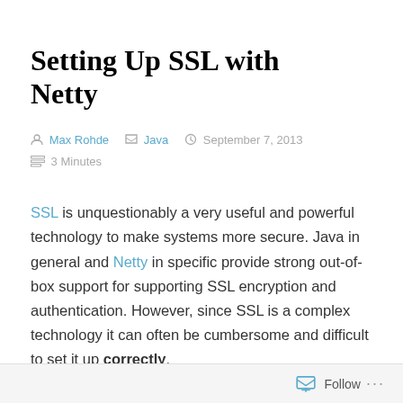Setting Up SSL with Netty
Max Rohde   Java   September 7, 2013
3 Minutes
SSL is unquestionably a very useful and powerful technology to make systems more secure. Java in general and Netty in specific provide strong out-of-box support for supporting SSL encryption and authentication. However, since SSL is a complex technology it can often be cumbersome and difficult to set it up correctly.
Follow